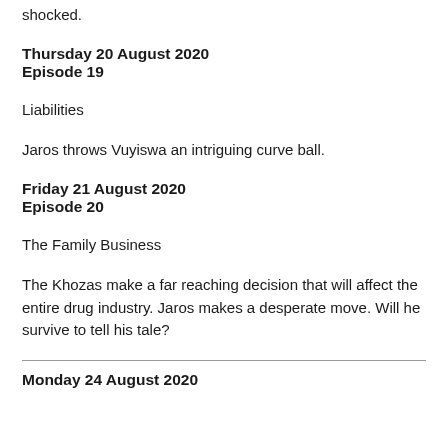shocked.
Thursday 20 August 2020
Episode 19
Liabilities
Jaros throws Vuyiswa an intriguing curve ball.
Friday 21 August 2020
Episode 20
The Family Business
The Khozas make a far reaching decision that will affect the entire drug industry. Jaros makes a desperate move. Will he survive to tell his tale?
Monday 24 August 2020